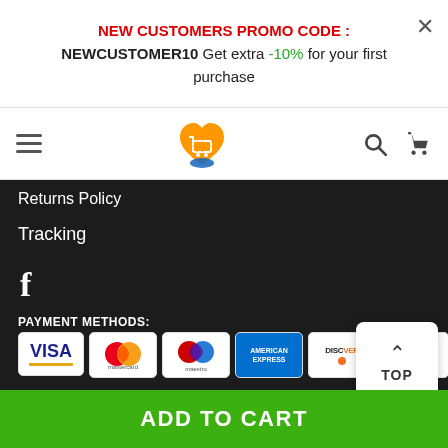NEW CUSTOMERS PROMO CODE : NEWCUSTOMER10 Get extra -10% for your first purchase
[Figure (logo): Shopping cart heart logo icon in orange/yellow]
Returns Policy
Tracking
[Figure (other): Facebook icon (lowercase f)]
PAYMENT METHODS:
[Figure (other): Payment method icons: Visa, Mastercard, Maestro, American Express, Discover, PayPal]
ADD TO CART